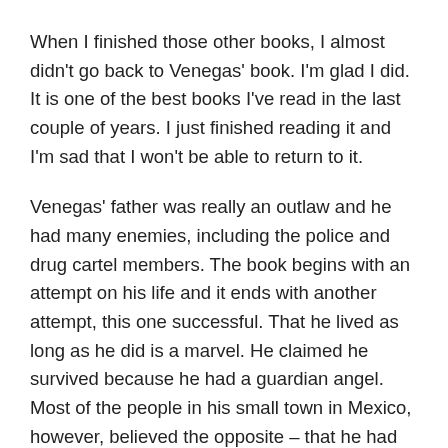When I finished those other books, I almost didn't go back to Venegas' book. I'm glad I did. It is one of the best books I've read in the last couple of years. I just finished reading it and I'm sad that I won't be able to return to it.
Venegas' father was really an outlaw and he had many enemies, including the police and drug cartel members. The book begins with an attempt on his life and it ends with another attempt, this one successful. That he lived as long as he did is a marvel. He claimed he survived because he had a guardian angel. Most of the people in his small town in Mexico, however, believed the opposite – that he had made a pact with the devil. But he didn't see himself as invincible; his view on death and when it arrives is simply, el que se chingó se chingó.